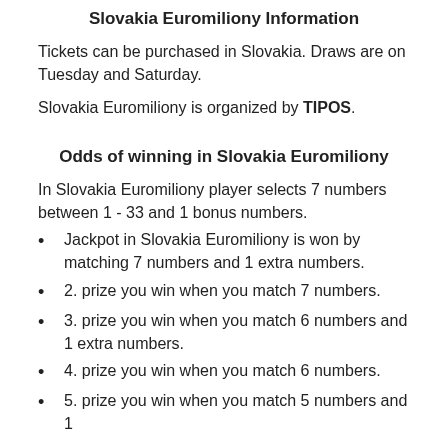Slovakia Euromiliony Information
Tickets can be purchased in Slovakia. Draws are on Tuesday and Saturday.
Slovakia Euromiliony is organized by TIPOS.
Odds of winning in Slovakia Euromiliony
In Slovakia Euromiliony player selects 7 numbers between 1 - 33 and 1 bonus numbers.
Jackpot in Slovakia Euromiliony is won by matching 7 numbers and 1 extra numbers.
2. prize you win when you match 7 numbers.
3. prize you win when you match 6 numbers and 1 extra numbers.
4. prize you win when you match 6 numbers.
5. prize you win when you match 5 numbers and 1